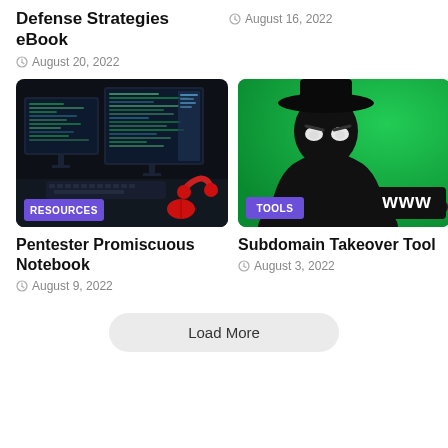Defense Strategies eBook
August 20, 2022
August 16, 2022
[Figure (photo): Dark hacker/coding setup with monitors showing code, red headphones and mouse on desk. Badge: RESOURCES]
[Figure (illustration): Cartoon hacker in black hat and coat on green background holding a www sign. Badge: TOOLS]
Pentester Promiscuous Notebook
August 9, 2022
Subdomain Takeover Tool
August 3, 2022
Load More